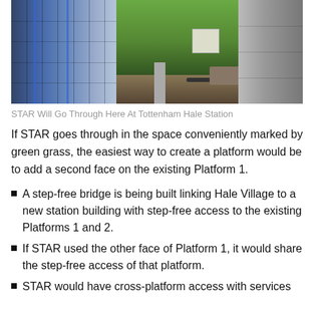[Figure (photo): Aerial or elevated view of Tottenham Hale Station showing a glass-walled structure on the left, a green grass area in the center (where STAR rail line would pass), and a grey wall/barrier on the right, with railway infrastructure visible.]
STAR Will Go Through Here At Tottenham Hale Station
If STAR goes through in the space conveniently marked by green grass, the easiest way to create a platform would be to add a second face on the existing Platform 1.
A step-free bridge is being built linking Hale Village to a new station building with step-free access to the existing Platforms 1 and 2.
If STAR used the other face of Platform 1, it would share the step-free access of that platform.
STAR would have cross-platform access with services